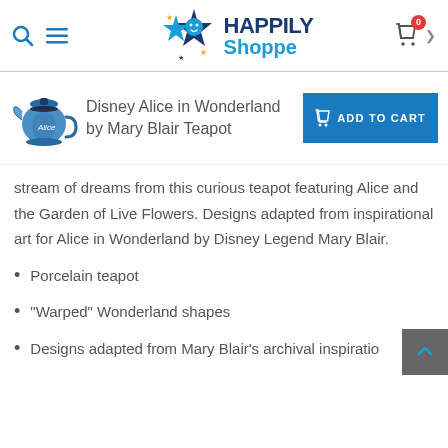[Figure (logo): Happily Shoppe logo with star characters and blue/gold text]
Disney Alice in Wonderland by Mary Blair Teapot
[Figure (photo): Disney Alice in Wonderland by Mary Blair Teapot product image]
stream of dreams from this curious teapot featuring Alice and the Garden of Live Flowers. Designs adapted from inspirational art for Alice in Wonderland by Disney Legend Mary Blair.
Porcelain teapot
"Warped" Wonderland shapes
Designs adapted from Mary Blair's archival inspiratio